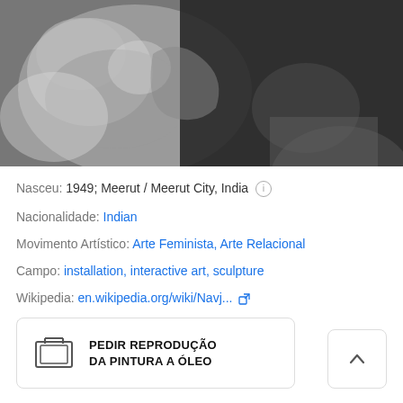[Figure (photo): Black and white photograph of a person working with clay or sculpture, close-up view showing hands and partial face]
Nasceu: 1949; Meerut / Meerut City, India
Nacionalidade: Indian
Movimento Artístico: Arte Feminista, Arte Relacional
Campo: installation, interactive art, sculpture
Wikipedia: en.wikipedia.org/wiki/Navj...
Sítio web oficial: www.navjotaltaf.com
PEDIR REPRODUÇÃO DA PINTURA A ÓLEO